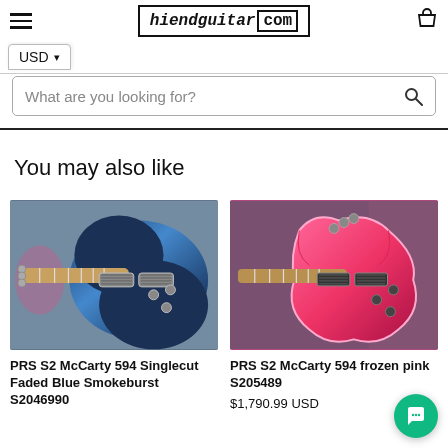hiendguitar.com
USD
What are you looking for?
You may also like
[Figure (photo): PRS S2 McCarty 594 Singlecut Faded Blue Smokeburst S2046990 electric guitar photo]
PRS S2 McCarty 594 Singlecut Faded Blue Smokeburst S2046990
[Figure (photo): PRS S2 McCarty 594 frozen pink S205489 electric guitar photo]
PRS S2 McCarty 594 frozen pink S205489
$1,790.99 USD